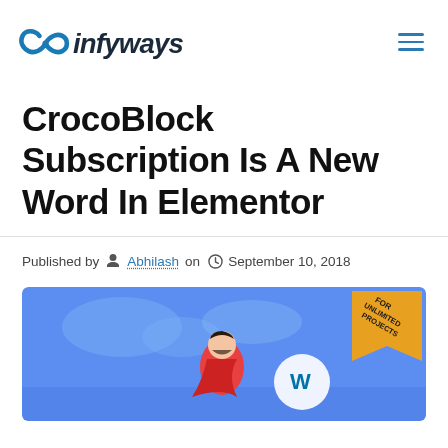infyways
CrocoBlock Subscription Is A New Word In Elementor
Published by Abhilash on September 10, 2018
[Figure (illustration): Promotional banner illustration for CrocoBlock with a superhero character holding a WordPress logo on a blue background, with a badge reading 'FOR UNLIMITED PROJECTS' in the top right corner]